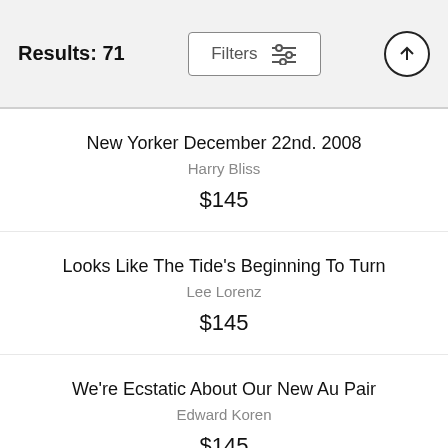Results: 71
New Yorker December 22nd. 2008
Harry Bliss
$145
Looks Like The Tide's Beginning To Turn
Lee Lorenz
$145
We're Ecstatic About Our New Au Pair
Edward Koren
$145